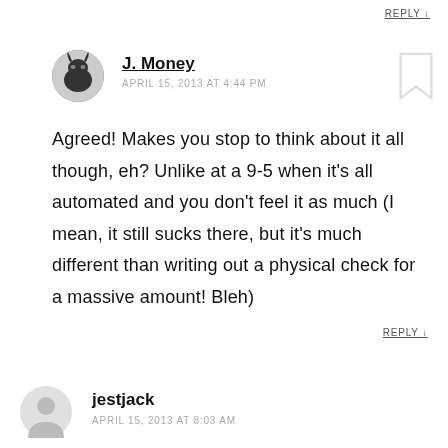REPLY ↓
J. Money
APRIL 15, 2013 AT 4:44 PM
Agreed! Makes you stop to think about it all though, eh? Unlike at a 9-5 when it's all automated and you don't feel it as much (I mean, it still sucks there, but it's much different than writing out a physical check for a massive amount! Bleh)
REPLY ↓
jestjack
APRIL 15, 2013 AT 8:03 AM